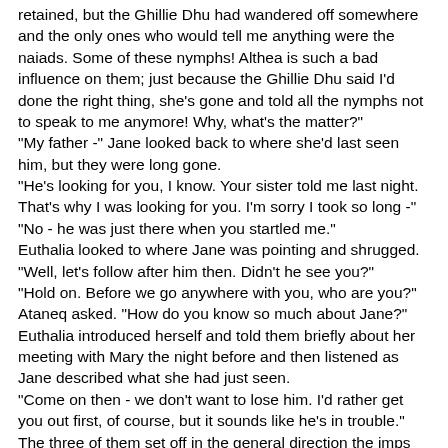retained, but the Ghillie Dhu had wandered off somewhere and the only ones who would tell me anything were the naiads. Some of these nymphs! Althea is such a bad influence on them; just because the Ghillie Dhu said I'd done the right thing, she's gone and told all the nymphs not to speak to me anymore! Why, what's the matter?"
"My father -" Jane looked back to where she'd last seen him, but they were long gone.
"He's looking for you, I know. Your sister told me last night. That's why I was looking for you. I'm sorry I took so long -"
"No - he was just there when you startled me."
Euthalia looked to where Jane was pointing and shrugged.
"Well, let's follow after him then. Didn't he see you?"
"Hold on. Before we go anywhere with you, who are you?" Ataneq asked. "How do you know so much about Jane?"
Euthalia introduced herself and told them briefly about her meeting with Mary the night before and then listened as Jane described what she had just seen.
"Come on then - we don't want to lose him. I'd rather get you out first, of course, but it sounds like he's in trouble."
The three of them set off in the general direction the imps were headed in. They soon found themselves back at the stream. Jane watched warily for the kelpie to appear. Instead